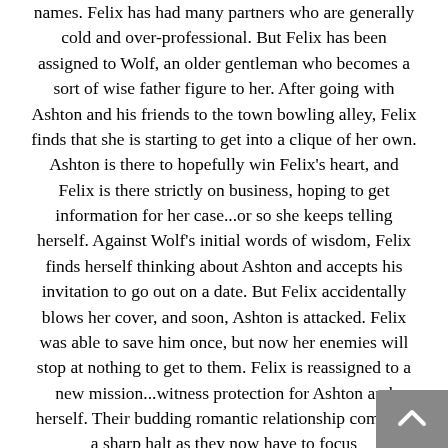names. Felix has had many partners who are generally cold and over-professional. But Felix has been assigned to Wolf, an older gentleman who becomes a sort of wise father figure to her. After going with Ashton and his friends to the town bowling alley, Felix finds that she is starting to get into a clique of her own. Ashton is there to hopefully win Felix's heart, and Felix is there strictly on business, hoping to get information for her case...or so she keeps telling herself. Against Wolf's initial words of wisdom, Felix finds herself thinking about Ashton and accepts his invitation to go out on a date. But Felix accidentally blows her cover, and soon, Ashton is attacked. Felix was able to save him once, but now her enemies will stop at nothing to get to them. Felix is reassigned to a new mission...witness protection for Ashton and herself. Their budding romantic relationship comes to a sharp halt as they now have to focus